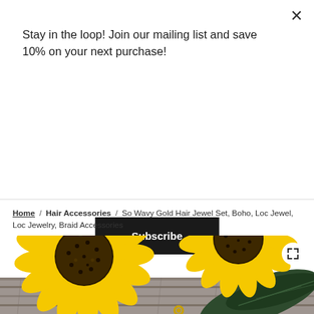Stay in the loop! Join our mailing list and save 10% on your next purchase!
Subscribe
Home / Hair Accessories / So Wavy Gold Hair Jewel Set, Boho, Loc Jewel, Loc Jewelry, Braid Accessories
[Figure (photo): Close-up photograph of bright yellow sunflowers with dark seeded centers and green leaves on a wooden surface, with a small gold ring visible at the bottom]